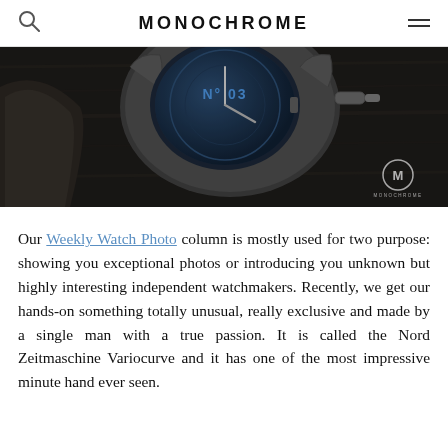MONOCHROME
[Figure (photo): Close-up macro photo of a watch movement/case, showing the crown area of a Nord Zeitmaschine Variocurve with 'N° 03' visible on the blue dial, set against a dark wooden background. A Monochrome watermark logo appears in the bottom right corner.]
Our Weekly Watch Photo column is mostly used for two purpose: showing you exceptional photos or introducing you unknown but highly interesting independent watchmakers. Recently, we get our hands-on something totally unusual, really exclusive and made by a single man with a true passion. It is called the Nord Zeitmaschine Variocurve and it has one of the most impressive minute hand ever seen.